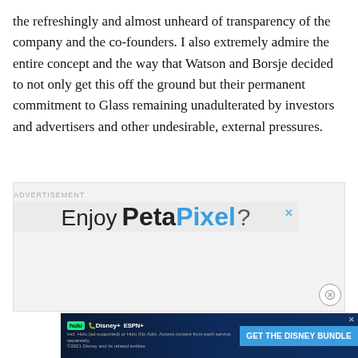the refreshingly and almost unheard of transparency of the company and the co-founders. I also extremely admire the entire concept and the way that Watson and Borsje decided to not only get this off the ground but their permanent commitment to Glass remaining unadulterated by investors and advertisers and other undesirable, external pressures.
[Figure (screenshot): Advertisement area with 'ADVERTISEMENT' label at top, inner box showing 'Enjoy PetaPixel?' text in large font with close X button, and a dismiss circle button. Below is a Disney Bundle banner ad with Hulu, Disney+, ESPN+ logos and 'GET THE DISNEY BUNDLE' button.]